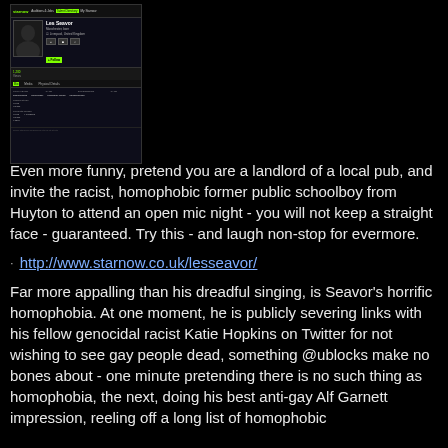[Figure (screenshot): Screenshot of a Starnow profile page for 'Les Seavor' showing profile photo placeholder, name, location, follow button, stats, tabs (Bio, Media, Physical Details), and a table with physical details.]
Even more funny, pretend you are a landlord of a local pub, and invite the racist, homophobic former public schoolboy from Huyton to attend an open mic night - you will not keep a straight face - guaranteed. Try this - and laugh non-stop for evermore.
http://www.starnow.co.uk/lesseavor/
Far more appalling than his dreadful singing, is Seavor's horrific homophobia. At one moment, he is publicly severing links with his fellow genocidal racist Katie Hopkins on Twitter for not wishing to see gay people dead, something @ublocks make no bones about - one minute pretending there is no such thing as homophobia, the next, doing his best anti-gay Alf Garnett impression, reeling off a long list of homophobic